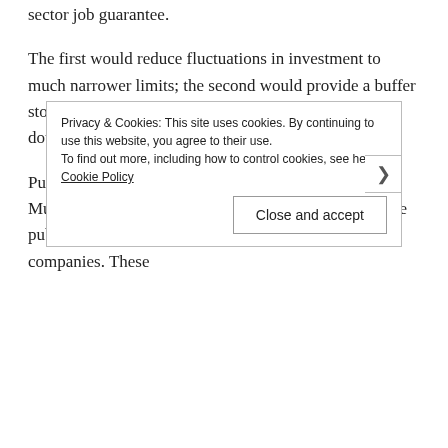sector job guarantee.
The first would reduce fluctuations in investment to much narrower limits; the second would provide a buffer stock of jobs, which would automatically expand in a downturn and deplete in an upturn.
Public investment does not require public ownership. Much of it could be done by quasi-state institutions like public investment banks or funds or state-holding companies. These
Privacy & Cookies: This site uses cookies. By continuing to use this website, you agree to their use.
To find out more, including how to control cookies, see here: Cookie Policy
Close and accept